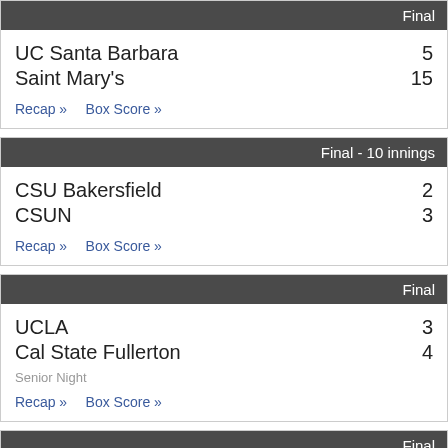Final
UC Santa Barbara 5
Saint Mary's 15
Recap» Box Score»
Final - 10 innings
CSU Bakersfield 2
CSUN 3
Recap» Box Score»
Final
UCLA 3
Cal State Fullerton 4
Senior Night
Recap» Box Score»
Final